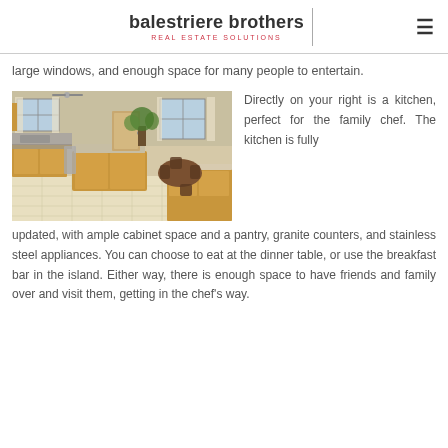balestriere brothers REAL ESTATE SOLUTIONS
large windows, and enough space for many people to entertain.
[Figure (photo): Interior photo of a kitchen with oak cabinets, granite countertop island, tile floor, dining table with chairs, and large windows.]
Directly on your right is a kitchen, perfect for the family chef. The kitchen is fully updated, with ample cabinet space and a pantry, granite counters, and stainless steel appliances. You can choose to eat at the dinner table, or use the breakfast bar in the island. Either way, there is enough space to have friends and family over and visit them, getting in the chef's way.